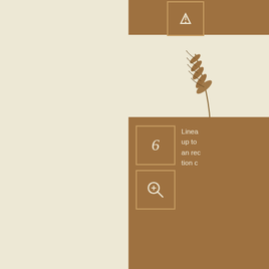[Figure (illustration): Cream/beige background occupying the left portion of the page, with decorative wheat/grain branch illustrations appearing along the right-center edge. Three brown information card panels are partially visible on the right side, each showing numbered icons (6, 7, 8) with magnifying glass icons and partial text. The top card shows a partial icon. Card 6 shows text beginning 'Linea... up to... an rec... tion c...'. Card 7 shows text beginning 'Vespe... ghter)... ne)Au... ecia B...'. Card 8 shows text beginning 'L2 En... S...']